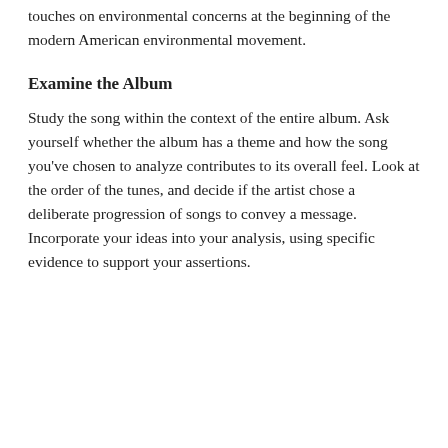touches on environmental concerns at the beginning of the modern American environmental movement.
Examine the Album
Study the song within the context of the entire album. Ask yourself whether the album has a theme and how the song you've chosen to analyze contributes to its overall feel. Look at the order of the tunes, and decide if the artist chose a deliberate progression of songs to convey a message. Incorporate your ideas into your analysis, using specific evidence to support your assertions.